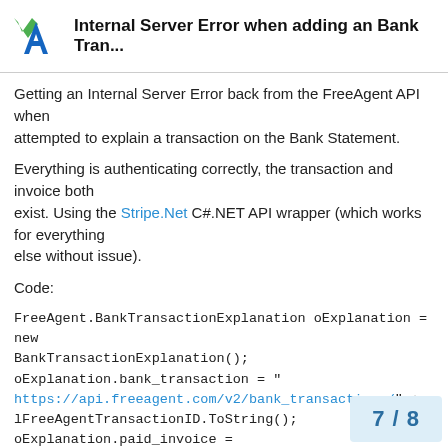Internal Server Error when adding an Bank Tran...
Getting an Internal Server Error back from the FreeAgent API when attempted to explain a transaction on the Bank Statement.
Everything is authenticating correctly, the transaction and invoice both exist. Using the Stripe.Net C#.NET API wrapper (which works for everything else without issue).
Code:
FreeAgent.BankTransactionExplanation oExplanation = new BankTransactionExplanation();
oExplanation.bank_transaction = "https://api.freeagent.com/v2/bank_transactions/" + lFreeAgentTransactionID.ToString();
oExplanation.paid_invoice = "https://api.freeagent.com/v2/invoices/"
lFreeAgentInvoiceID.ToString();
7 / 8